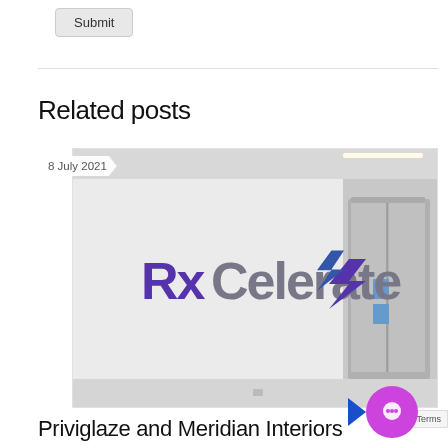Submit
Related posts
[Figure (photo): Interior office photo showing a RxCelerate logo mounted on a white wall, with an elevator visible on the right side of the image. Date badge reads '8 July 2021'.]
8 July 2021
Priviglaze and Meridian Interiors